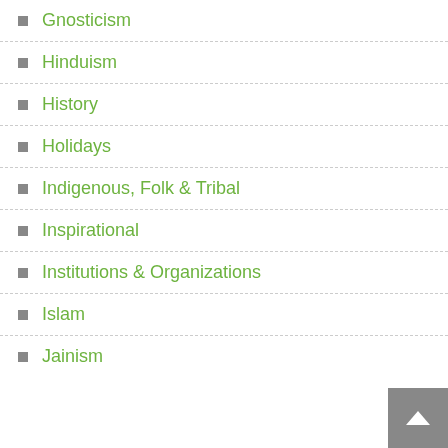Gnosticism
Hinduism
History
Holidays
Indigenous, Folk & Tribal
Inspirational
Institutions & Organizations
Islam
Jainism